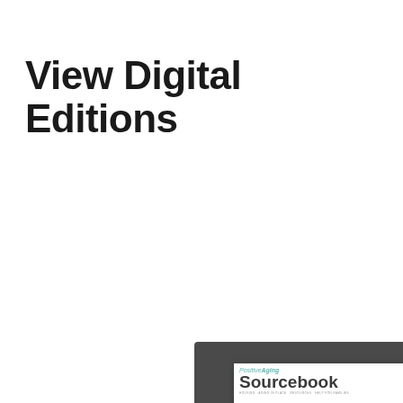View Digital Editions
[Figure (screenshot): Screenshot of the Positive Aging Sourcebook magazine digital edition cover, showing photos of older adults and the headline 'Village People', displayed inside a dark gray browser/viewer frame with a play button overlay. The magazine cover has sections for Housing Options, Moving & Downsizing, Aging in Place, Legal/Financial and Care Management Resources.]